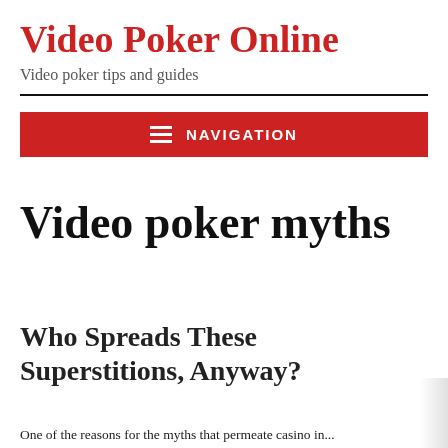Video Poker Online
Video poker tips and guides
[Figure (other): Red navigation bar with hamburger menu icon and NAVIGATION label]
Video poker myths
Who Spreads These Superstitions, Anyway?
One of the reasons for the myths that permeate casino gaming in...